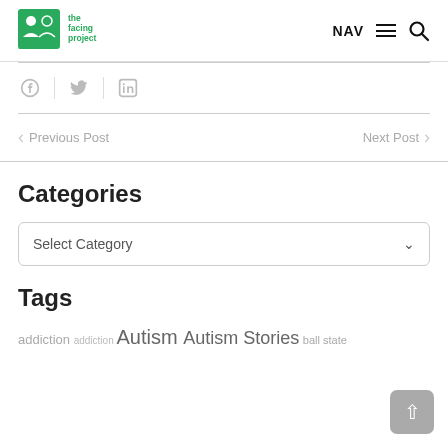The Facing Project — NAV [hamburger] [search]
[Figure (logo): The Facing Project logo — green square icon with face silhouettes and text 'the facing project']
Facebook | Twitter | LinkedIn (social share icons)
< Previous Post    Next Post >
Categories
Select Category
Tags
addiction  addiction  Autism  Autism Stories  ball state